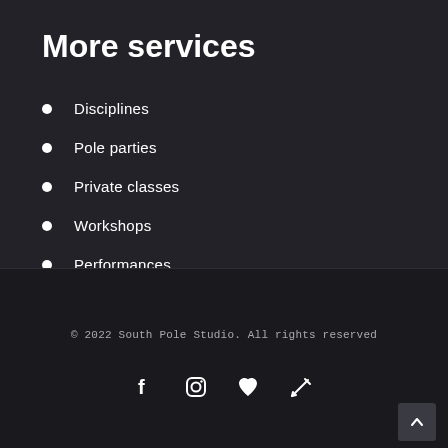More services
Disciplines
Pole parties
Private classes
Workshops
Performances
© 2022 South Pole Studio. All rights reserved